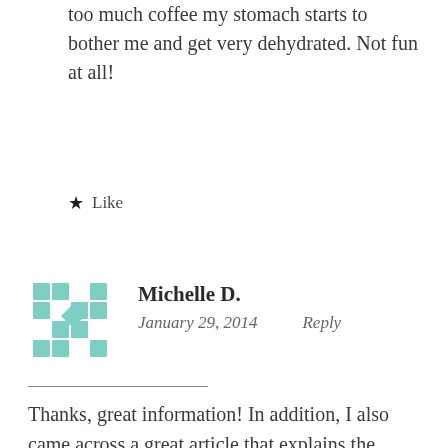too much coffee my stomach starts to bother me and get very dehydrated. Not fun at all!
★ Like
[Figure (illustration): Teal/mint colored decorative avatar with geometric diamond/square pattern]
Michelle D.
January 29, 2014   Reply
Thanks, great information! In addition, I also came across a great article that explains the effects of caffeine on blood pressure. Thought it was worth a share: http://www.drdnaturopath.com/index.php/should-you-watch-caffeine-and-blood-pressure/